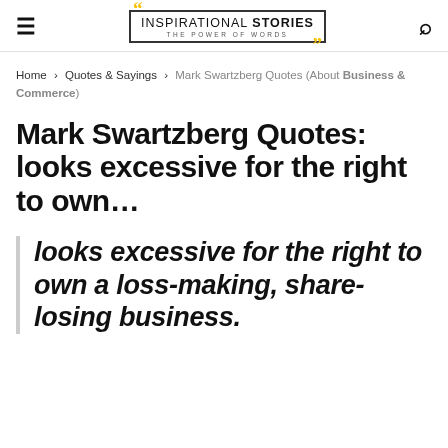INSPIRATIONAL STORIES THE POWER OF WORDS
Home › Quotes & Sayings › Mark Swartzberg Quotes (About Business & Commerce)
Mark Swartzberg Quotes: looks excessive for the right to own…
looks excessive for the right to own a loss-making, share-losing business.